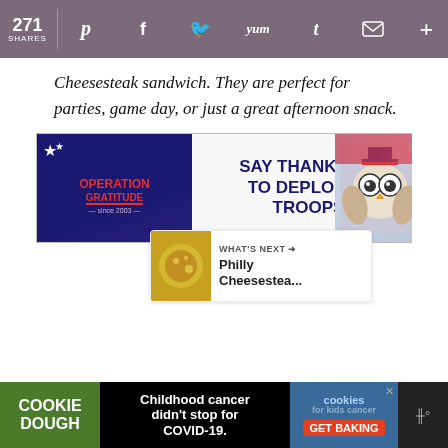271 SHARES — social sharing bar with Pinterest, Facebook, Twitter, Yum, Tumblr, Email, More icons
Cheesesteak sandwich. They are perfect for parties, game day, or just a great afternoon snack.
[Figure (other): Advertisement banner: Operation Gratitude — SAY THANK YOU TO DEPLOYED TROOPS, with patriotic imagery and cartoon owl]
[Figure (other): Floating heart/like button (teal circle) with count '1' and share button below]
[Figure (other): What's Next panel: Philly Cheesestea... with food thumbnail image]
[Figure (other): Bottom advertisement: COOKIE DOUGH — Childhood cancer didn't stop for COVID-19. — cookies for kids cancer GET BAKING]